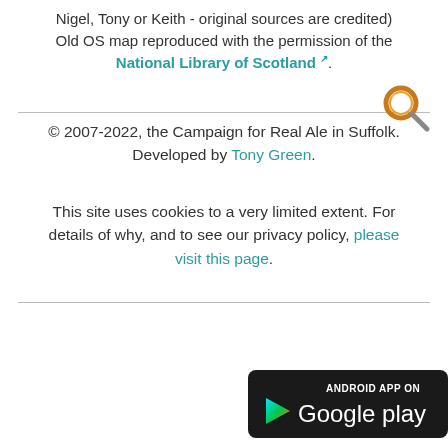Nigel, Tony or Keith - original sources are credited) Old OS map reproduced with the permission of the National Library of Scotland.
[Figure (other): Magnifying glass search icon in orange and grey]
© 2007-2022, the Campaign for Real Ale in Suffolk. Developed by Tony Green.
This site uses cookies to a very limited extent. For details of why, and to see our privacy policy, please visit this page.
[Figure (logo): Android App on Google Play badge - black rounded rectangle with Google Play logo and text]